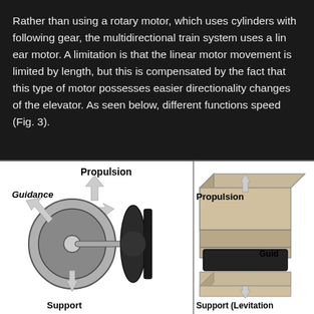Rather than using a rotary motor, which uses cylinders with following gear, the multidirectional train system uses a linear motor. A limitation is that the linear motor movement is limited by length, but this is compensated by the fact that this type of motor possesses easier directionality changes of the elevator. As seen below, different functions speed (Fig. 3).
[Figure (engineering-diagram): Two engineering diagrams side by side showing components of train/elevator propulsion systems. Left diagram: a rotary wheel system with labels Guidance (left), Propulsion (top center), and Support (bottom). Right diagram: a linear motor rail system with labels Propulsion (top right), Guidance (right), and Support (Levitation) (bottom).]